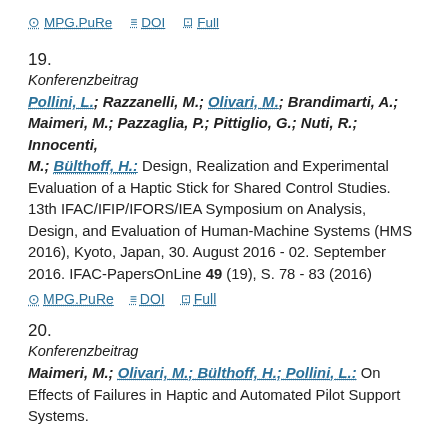MPG.PuRe  DOI  Full (top links)
19.
Konferenzbeitrag
Pollini, L.; Razzanelli, M.; Olivari, M.; Brandimarti, A.; Maimeri, M.; Pazzaglia, P.; Pittiglio, G.; Nuti, R.; Innocenti, M.; Bülthoff, H.: Design, Realization and Experimental Evaluation of a Haptic Stick for Shared Control Studies. 13th IFAC/IFIP/IFORS/IEA Symposium on Analysis, Design, and Evaluation of Human-Machine Systems (HMS 2016), Kyoto, Japan, 30. August 2016 - 02. September 2016. IFAC-PapersOnLine 49 (19), S. 78 - 83 (2016)
MPG.PuRe  DOI  Full
20.
Konferenzbeitrag
Maimeri, M.; Olivari, M.; Bülthoff, H.; Pollini, L.: On Effects of Failures in Haptic and Automated Pilot Support Systems.